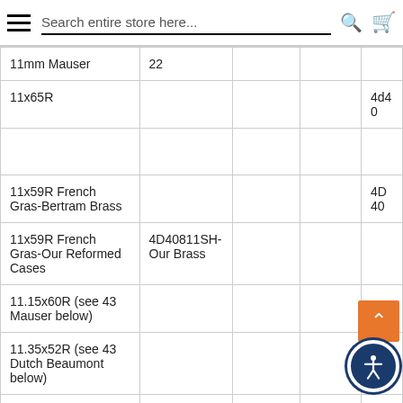Search entire store here...
|  |  |  |  |  |
| --- | --- | --- | --- | --- |
| 11mm Mauser | 22 |  |  |  |
| 11x65R |  |  |  | 4d40 |
|  |  |  |  |  |
| 11x59R French Gras-Bertram Brass |  |  |  | 4D40 |
| 11x59R French Gras-Our Reformed Cases | 4D40811SH-Our Brass |  |  |  |
| 11.15x60R (see 43 Mauser below) |  |  |  |  |
| 11.35x52R (see 43 Dutch Beaumont below) |  |  |  |  |
| 11.4x50R |  |  |  | 11.4x |